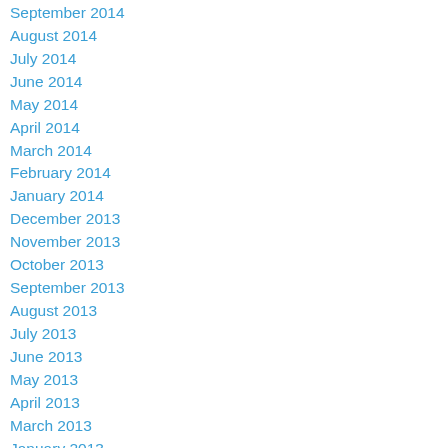September 2014
August 2014
July 2014
June 2014
May 2014
April 2014
March 2014
February 2014
January 2014
December 2013
November 2013
October 2013
September 2013
August 2013
July 2013
June 2013
May 2013
April 2013
March 2013
January 2013